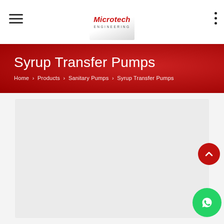Microtech Engineering
Syrup Transfer Pumps
Home › Products › Sanitary Pumps › Syrup Transfer Pumps
[Figure (screenshot): Light grey product content card placeholder area]